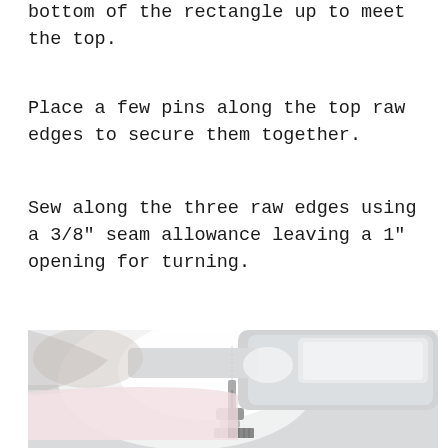bottom of the rectangle up to meet the top.
Place a few pins along the top raw edges to secure them together.
Sew along the three raw edges using a 3/8" seam allowance leaving a 1" opening for turning.
[Figure (photo): Close-up photo of a sewing machine needle and presser foot on a white fabric surface, with a hand visible in the background guiding light pink fabric.]